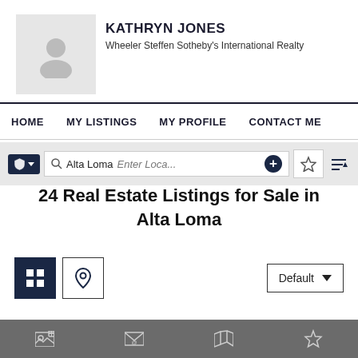[Figure (photo): Placeholder avatar/profile photo in a light grey box]
KATHRYN JONES
Wheeler Steffen Sotheby's International Realty
HOME   MY LISTINGS   MY PROFILE   CONTACT ME
[Figure (screenshot): Search bar with shield/filter button, location field showing 'Alta Loma', placeholder 'Enter Loca...', add button, star/favorites button, and sort button]
24 Real Estate Listings for Sale in Alta Loma
[Figure (screenshot): View toggle controls: filled grid button (active/dark), map pin outline button, and Default sort dropdown]
[Figure (screenshot): Bottom grey strip with listing card image icons: photo, contact, map, and star/favorite icon]